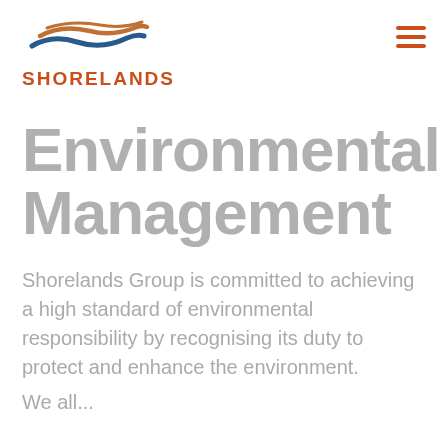[Figure (logo): Shorelands company logo with stylized wave graphic above the text SHORELANDS in bold burnt orange/red uppercase letters]
Environmental Management
Shorelands Group is committed to achieving a high standard of environmental responsibility by recognising its duty to protect and enhance the environment.
We all...